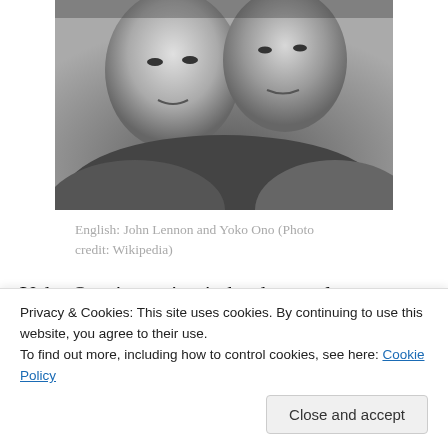[Figure (photo): Black and white photo of two people (John Lennon and Yoko Ono) with faces close together, cropped to show faces and upper shoulders.]
English: John Lennon and Yoko Ono (Photo credit: Wikipedia)
Yoko Ono is staying in her home alone always thinking of her lost love John Lennon. She wishes he would come back, but can’t seem to do it. Right now she is watching her favorite show eating Chinese food. But, it’s not the
Privacy & Cookies: This site uses cookies. By continuing to use this website, you agree to their use.
To find out more, including how to control cookies, see here: Cookie Policy
cry out for her, but she doesn’t listen. The stalker did this